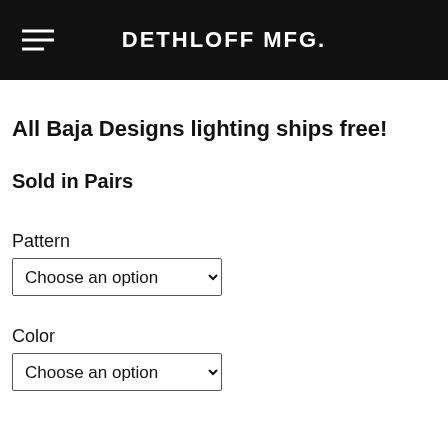DETHLOFF MFG.
All Baja Designs lighting ships free!
Sold in Pairs
Pattern
Choose an option
Color
Choose an option